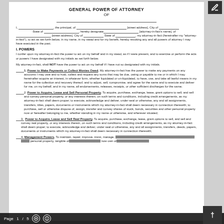GENERAL POWER OF ATTORNEY
OF
I, _______________, the principal, of _______________ [street address], City of _______________ State of _______________, hereby designate _______________ [attorney-in-fact's name], of _______________ [street address], City of _______________ State of _______________, my attorney-in-fact (hereinafter my "attorney-in-fact"), to act as set forth below, in my name, in my stead and for my benefit, hereby revoking any and all powers of attorney I may have executed in the past.
I. POWERS
I confer upon my attorney-in-fact the power to act on my behalf and in my stead, as if I were present, and to exercise or perform the acts or powers I have designated with my initials as set forth below.
My attorney-in-fact, shall NOT have the power to act on my behalf if I have not so designated with my initials.
___ 1. Power to Make Payments or Collect Monies Owed. My attorney-in-fact has the power to make any payments on any accounts I may owe and to hold, collect and request any sums that may be due, owing or payable to me or in which I may hereinafter acquire an interest, in whatever form, whether liquidated or un-liquidated, to have, use, and take all lawful means in my name for the collection and recovery thereof, and to adjust, sell, compromise, and agree for the same and to execute and deliver for me, on my behalf, and in my name, all endorsements, releases, receipts, or other sufficient discharges for the same;
___ 2. Power to Acquire, Lease and Sell Personal Property. To acquire, purchase, exchange, lease, grant options to sell, and sell and convey personal property, or any interests therein, on such terms and conditions, including credit arrangements, as my attorney-in-fact shall deem proper; to execute, acknowledge and deliver, under seal or otherwise, any and all assignments, transfers, titles, papers, documents or instruments which my attorney-in-fact shall deem necessary in connection therewith; to purchase, sell or otherwise dispose of, assign, transfer and convey shares of stock, bonds, securities and other personal property now or hereafter belonging to me, whether standing in my name or otherwise, and wherever situated;
___ 3. Power to Acquire, Lease and Sell Real Property. To acquire, purchase, exchange, lease, grant options to sell, and sell and convey real property, or any interests therein, on such terms and conditions, including credit arrangements, as my attorney-in-fact shall deem proper; to execute, acknowledge and deliver, under seal or otherwise, any and all assignments, transfers, deeds, papers, documents or instruments which my attorney-in-fact shall deem necessary in connection therewith;
___ 4. Management Powers. To maintain, repair, improve, insist, manage, lease, rent, lease, number, and in any manner deal with any real or personal property, tangible or otherwise, any assets I now own or hereafter acquire, in my
Page 1 / 5